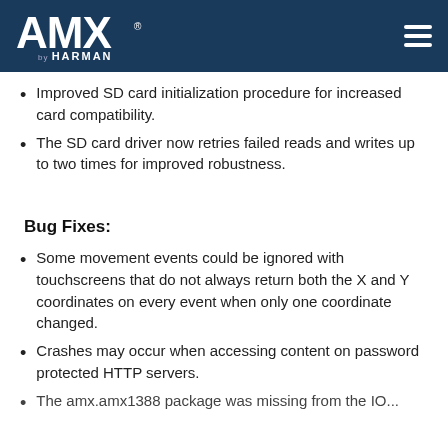AMX by HARMAN
Improved SD card initialization procedure for increased card compatibility.
The SD card driver now retries failed reads and writes up to two times for improved robustness.
Bug Fixes:
Some movement events could be ignored with touchscreens that do not always return both the X and Y coordinates on every event when only one coordinate changed.
Crashes may occur when accessing content on password protected HTTP servers.
The amx.amx1388 package was missing from the IO...